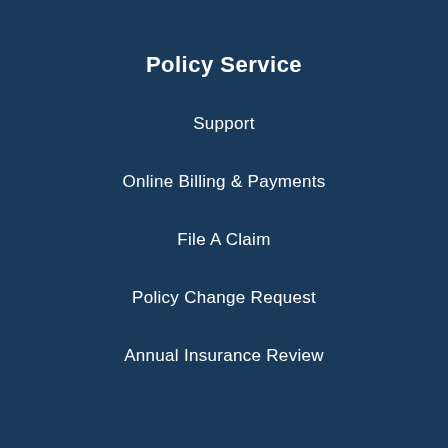Policy Service
Support
Online Billing & Payments
File A Claim
Policy Change Request
Annual Insurance Review